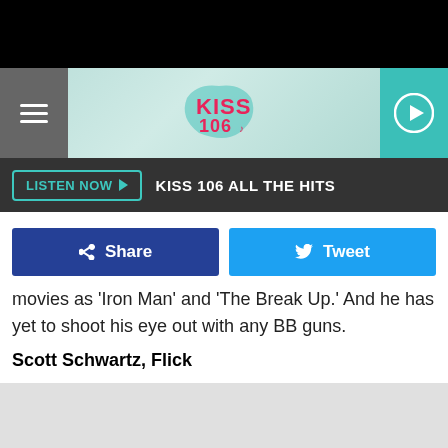[Figure (screenshot): KISS 106 radio station website header with logo, hamburger menu, play button, and teal background]
LISTEN NOW  KISS 106 ALL THE HITS
f Share   Tweet
movies as 'Iron Man' and 'The Break Up.' And he has yet to shoot his eye out with any BB guns.
Scott Schwartz, Flick